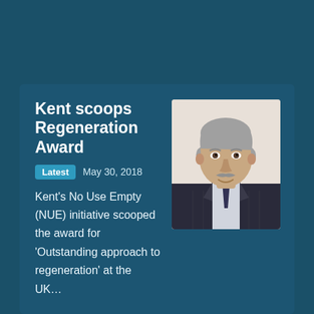Latest
Kent scoops Regeneration Award
Latest  May 30, 2018
Kent's No Use Empty (NUE) initiative scooped the award for 'Outstanding approach to regeneration' at the UK...
[Figure (photo): Headshot portrait of an older man with grey hair and a moustache, wearing a dark pinstripe suit and tie, smiling.]